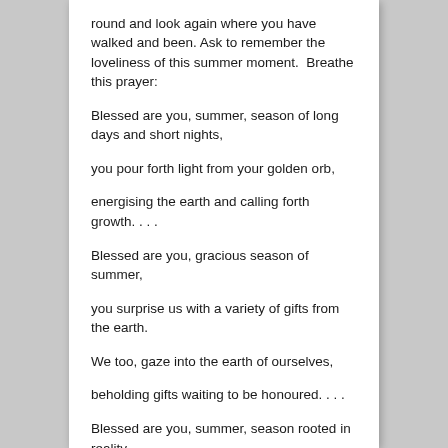round and look again where you have walked and been. Ask to remember the loveliness of this summer moment.  Breathe this prayer:
Blessed are you, summer, season of long days and short nights,
you pour forth light from your golden orb,
energising the earth and calling forth growth. . . .
Blessed are you, gracious season of summer,
you surprise us with a variety of gifts from the earth.
We too, gaze into the earth of ourselves,
beholding gifts waiting to be honoured. . . .
Blessed are you, summer, season rooted in reality.
Even as the perspiration collects on our brow,
we experience your earthy joy.